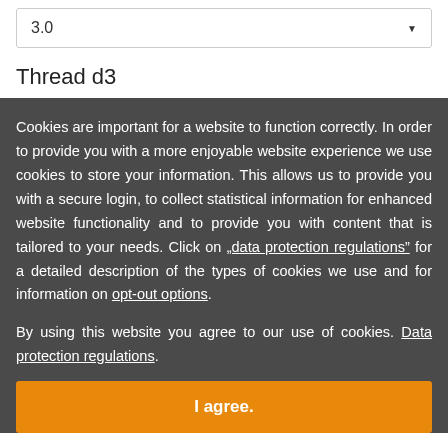3.0
Thread d3
Cookies are important for a website to function correctly. In order to provide you with a more enjoyable website experience we use cookies to store your information. This allows us to provide you with a secure login, to collect statistical information for enhanced website functionality and to provide you with content that is tailored to your needs. Click on „data protection regulations” for a detailed description of the types of cookies we use and for information on opt-out options.
By using this website you agree to our use of cookies. Data protection regulations.
I agree.